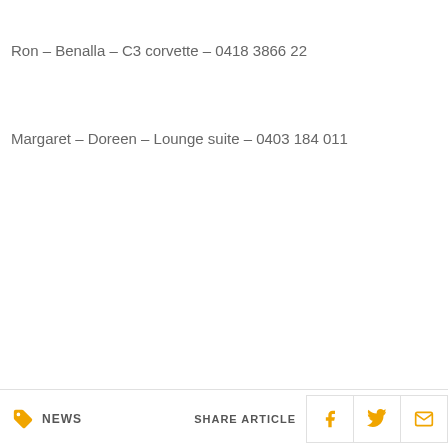Ron – Benalla – C3 corvette – 0418 3866 22
Margaret – Doreen – Lounge suite – 0403 184 011
NEWS   SHARE ARTICLE  [Facebook] [Twitter] [Email]